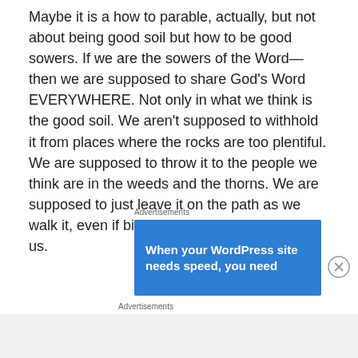Maybe it is a how to parable, actually, but not about being good soil but how to be good sowers. If we are the sowers of the Word—then we are supposed to share God's Word EVERYWHERE. Not only in what we think is the good soil. We aren't supposed to withhold it from places where the rocks are too plentiful. We are supposed to throw it to the people we think are in the weeds and the thorns. We are supposed to just leave it on the path as we walk it, even if birds may come along behind us.
Advertisements
[Figure (other): Blue advertisement banner for a WordPress hosting service reading 'When your WordPress site needs speed, you need' with a logo partially visible at the bottom.]
Advertisements